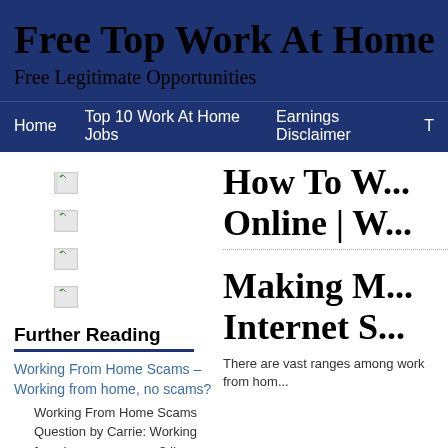Free Top Work At Home
Free Legitimate Opportunities
Home   Top 10 Work At Home Jobs   Earnings Disclaimer   T...
[Figure (illustration): Four broken image placeholder icons stacked vertically]
How To W... Online | W...
Making M... Internet S...
There are vast ranges among work from hom...
Further Reading
Working From Home Scams – Working from home, no scams?
Working From Home Scams Question by Carrie: Working from home, no scams? I'm looking for something to...